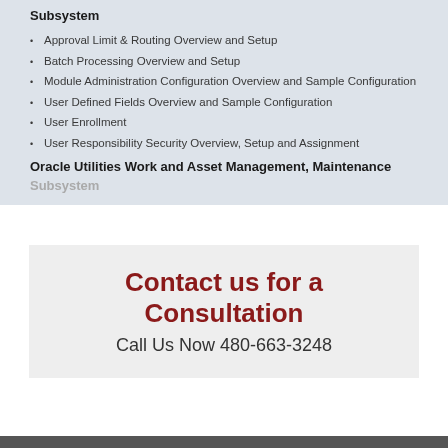Subsystem
Approval Limit & Routing Overview and Setup
Batch Processing Overview and Setup
Module Administration Configuration Overview and Sample Configuration
User Defined Fields Overview and Sample Configuration
User Enrollment
User Responsibility Security Overview, Setup and Assignment
Oracle Utilities Work and Asset Management, Maintenance
Subsystem
Contact us for a Consultation
Call Us Now 480-663-3248